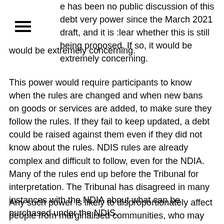e has been no public discussion of this debt very power since the March 2021 draft, and it is clear whether this is still being proposed. If so, it would be extremely concerning.
This power would require participants to know when the rules are changed and when new bans on goods or services are added, to make sure they follow the rules. If they fail to keep updated, a debt could be raised against them even if they did not know about the rules. NDIS rules are already complex and difficult to follow, even for the NDIA. Many of the rules end up before the Tribunal for interpretation. The Tribunal has disagreed in many instances with the NDIA about what can be purchased under the NDIS.
Any such power is likely to disproportionately affect people from marginalised communities, who may be less likely to understand and follow complex rule